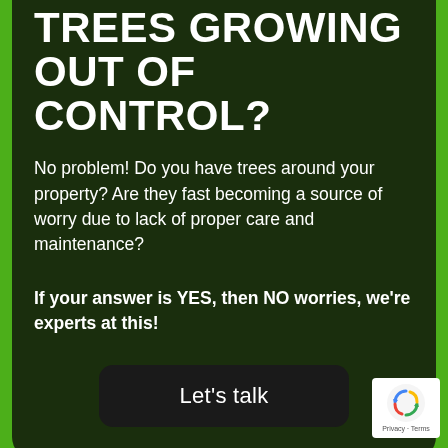TREES GROWING OUT OF CONTROL?
No problem! Do you have trees around your property? Are they fast becoming a source of worry due to lack of proper care and maintenance?
If your answer is YES, then NO worries, we're experts at this!
Let's talk
[Figure (logo): Google reCAPTCHA badge with recycling-style arrow logo and Privacy - Terms text]